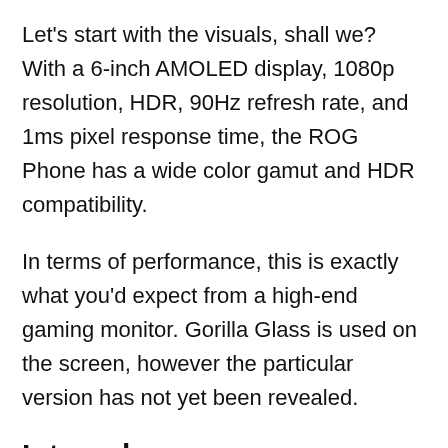Let's start with the visuals, shall we? With a 6-inch AMOLED display, 1080p resolution, HDR, 90Hz refresh rate, and 1ms pixel response time, the ROG Phone has a wide color gamut and HDR compatibility.
In terms of performance, this is exactly what you'd expect from a high-end gaming monitor. Gorilla Glass is used on the screen, however the particular version has not yet been revealed.
Internals
For many individuals, the innards will be the most intriguing aspect of this tutorial. One of Qualcomm's newest and most powerful CPUs, the